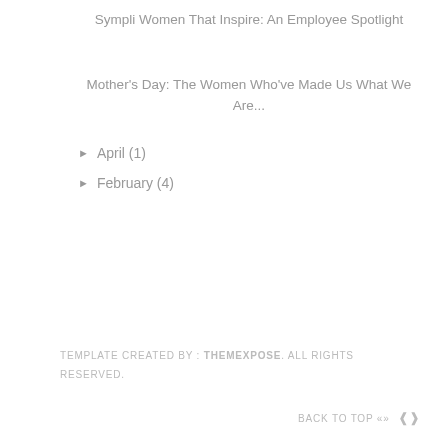Sympli Women That Inspire: An Employee Spotlight
Mother's Day: The Women Who've Made Us What We Are...
► April (1)
► February (4)
TEMPLATE CREATED BY : THEMEXPOSE. ALL RIGHTS RESERVED.
BACK TO TOP ▲